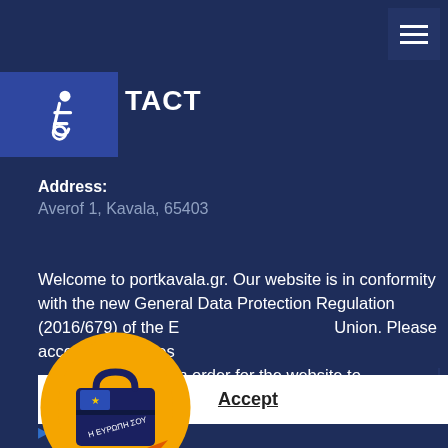CONTACT
Address:
Averof 1, Kavala, 65403
Welcome to portkavala.gr. Our website is in conformity with the new General Data Protection Regulation (2016/679) of the European Union. Please accept the cookies we use in order for the website to functioning properly. Learn more
[Figure (logo): EU logo circular badge with briefcase and text H EYPONH SOY on orange and yellow background]
Accept
Vision & Strategy